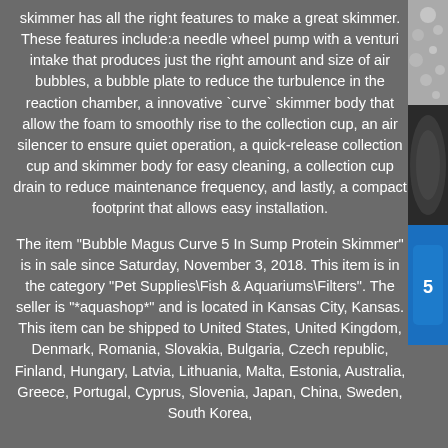skimmer has all the right features to make a great skimmer. These features include:a needle wheel pump with a venturi intake that produces just the right amount and size of air bubbles, a bubble plate to reduce the turbulence in the reaction chamber, a innovative `curve` skimmer body that allow the foam to smoothly rise to the collection cup, an air silencer to ensure quiet operation, a quick-release collection cup and skimmer body for easy cleaning, a collection cup drain to reduce maintenance frequency, and lastly, a compact footprint that allows easy installation.
The item "Bubble Magus Curve 5 In Sump Protein Skimmer" is in sale since Saturday, November 3, 2018. This item is in the category "Pet Supplies\Fish & Aquariums\Filters". The seller is "*aquashop*" and is located in Kansas City, Kansas. This item can be shipped to United States, United Kingdom, Denmark, Romania, Slovakia, Bulgaria, Czech republic, Finland, Hungary, Latvia, Lithuania, Malta, Estonia, Australia, Greece, Portugal, Cyprus, Slovenia, Japan, China, Sweden, South Korea,